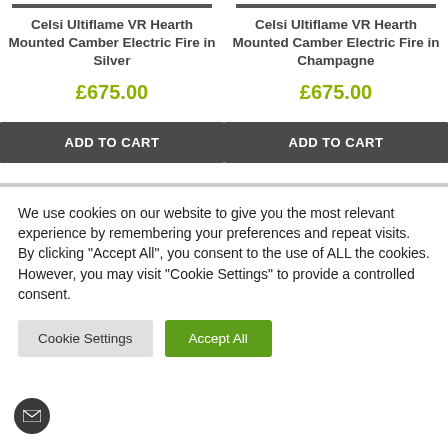Celsi Ultiflame VR Hearth Mounted Camber Electric Fire in Silver
£675.00
ADD TO CART
Celsi Ultiflame VR Hearth Mounted Camber Electric Fire in Champagne
£675.00
ADD TO CART
We use cookies on our website to give you the most relevant experience by remembering your preferences and repeat visits. By clicking "Accept All", you consent to the use of ALL the cookies. However, you may visit "Cookie Settings" to provide a controlled consent.
Cookie Settings
Accept All